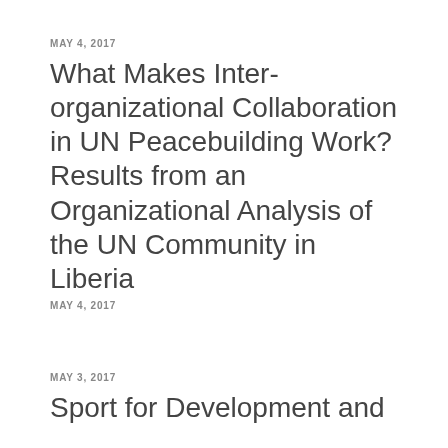MAY 4, 2017
What Makes Inter-organizational Collaboration in UN Peacebuilding Work? Results from an Organizational Analysis of the UN Community in Liberia
MAY 4, 2017
MAY 3, 2017
Sport for Development and